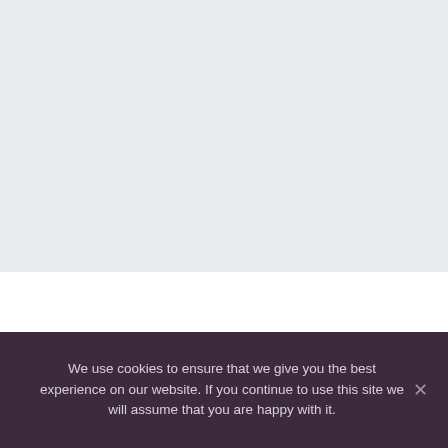We use cookies to ensure that we give you the best experience on our website. If you continue to use this site we will assume that you are happy with it.